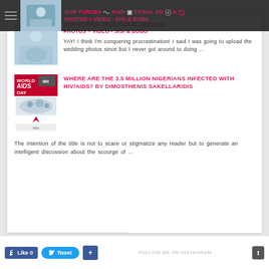OUR YORUBA TRADITIONAL WEDDING PHOTOS + VIDEO - SISI & BOBO
[Figure (photo): Wedding photo thumbnail - blue toned image of people]
YAY! I think I'm conquering procrastination! I said I was going to upload the wedding photos since but I never got around to doing ...
[Figure (photo): World AIDS Day poster with world map and red ribbon]
WHERE ARE THE 3.5 MILLION NIGERIANS INFECTED WITH HIV/AIDS? BY DIMOSTHENIS SAKELLARIDIS
The intention of the title is not to scare or stigmatize any reader but to generate an intelligent discussion about the scourge of ...
Like 0   Tweet   +   FOLLOW ME ON INSTAGRAM   t